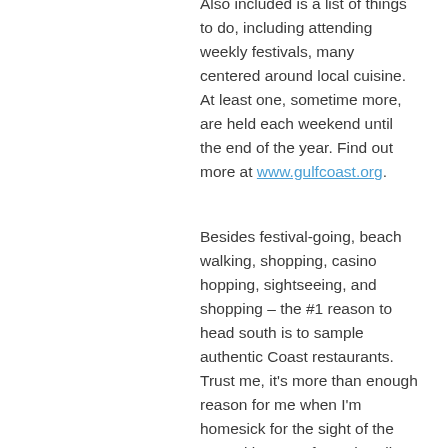Also included is a list of things to do, including attending weekly festivals, many centered around local cuisine. At least one, sometime more, are held each weekend until the end of the year. Find out more at www.gulfcoast.org.
Besides festival-going, beach walking, shopping, casino hopping, sightseeing, and shopping – the #1 reason to head south is to sample authentic Coast restaurants. Trust me, it's more than enough reason for me when I'm homesick for the sight of the natural beauty of our shoreline, fresh salty breezes and palm trees, and the best shrimp po'boy in the world downed with a Barq's root beer. Since Barq's was first bottled in Biloxi, it stands to reason...